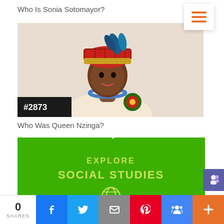Who Is Sonia Sotomayor?
[Figure (illustration): Historical portrait illustration of Queen Nzinga wearing a red patterned crown/headpiece, blue beaded necklace, and holding a decorative flower. Badge in lower left reads #2873.]
#2873
Who Was Queen Nzinga?
[Figure (infographic): Green banner with lighter green text reading EXPLORE / SOCIAL STUDIES and a globe icon below.]
0 SHARES